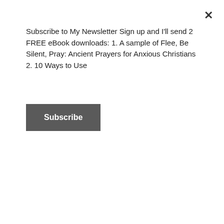Subscribe to My Newsletter Sign up and I'll send 2 FREE eBook downloads: 1. A sample of Flee, Be Silent, Pray: Ancient Prayers for Anxious Christians 2. 10 Ways to Use
Subscribe
There isn't a physical God on earth to hold us quite so directly, and so I have overcompensated with words until they failed me. And when words failed and I couldn't talk myself out of a spiritual crisis, I assumed that God had failed me.
But there is quite a lot more to God than the words we speak or the ideas scrolling through our minds. There is presence and comfort in silence, even if